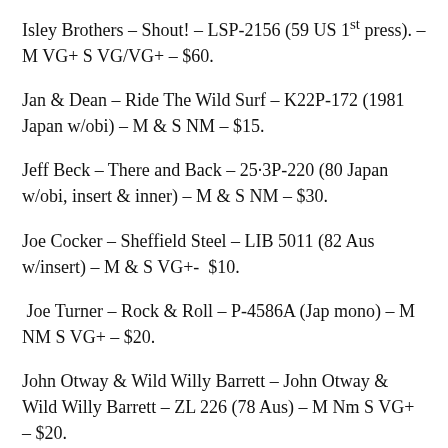Isley Brothers – Shout! – LSP-2156 (59 US 1st press). – M VG+ S VG/VG+ – $60.
Jan & Dean – Ride The Wild Surf – K22P-172 (1981 Japan w/obi) – M & S NM – $15.
Jeff Beck – There and Back – 25·3P-220 (80 Japan w/obi, insert & inner) – M & S NM – $30.
Joe Cocker – Sheffield Steel – LIB 5011 (82 Aus w/insert) – M & S VG+-  $10.
Joe Turner – Rock & Roll – P-4586A (Jap mono) – M NM S VG+ – $20.
John Otway & Wild Willy Barrett – John Otway & Wild Willy Barrett – ZL 226 (78 Aus) – M Nm S VG+ – $20.